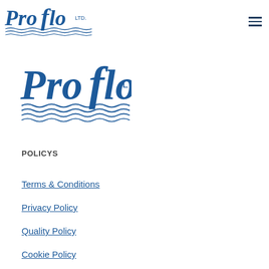Proflo LTD. [logo] [hamburger menu]
[Figure (logo): Proflo LTD. logo — large blue italic text with wave lines beneath]
POLICYS
Terms & Conditions
Privacy Policy
Quality Policy
Cookie Policy
Health & Safety Policy